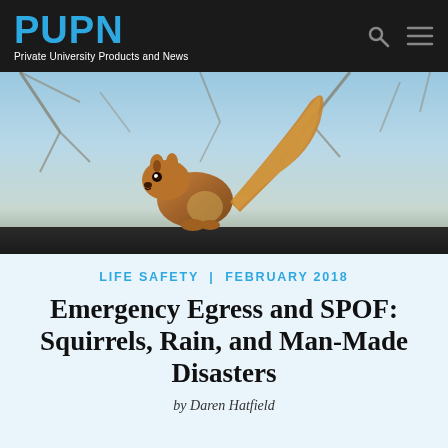PUPN — Private University Products and News
[Figure (photo): A red squirrel perched on a dark branch or wire, with bare tree branches and a blue-grey sky in the background.]
LIFE SAFETY  |  FEBRUARY 2018
Emergency Egress and SPOF: Squirrels, Rain, and Man-Made Disasters
by Daren Hatfield